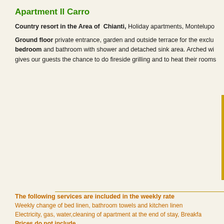Apartment Il Carro
Country resort in the Area of Chianti, Holiday apartments, Montelupo
Ground floor private entrance, garden and outside terrace for the exclusive use of guests. bedroom and bathroom with shower and detached sink area. Arched wi gives our guests the chance to do fireside grilling and to heat their rooms
| High season: 01/05-31/1 | Mid sea | Low sea |
| --- | --- | --- |
The following services are included in the weekly rate
Weekly change of bed linen, bathroom towels and kitchen linen
Electricity, gas, water,cleaning of apartment at the end of stay, Breakfa
Prices do not include